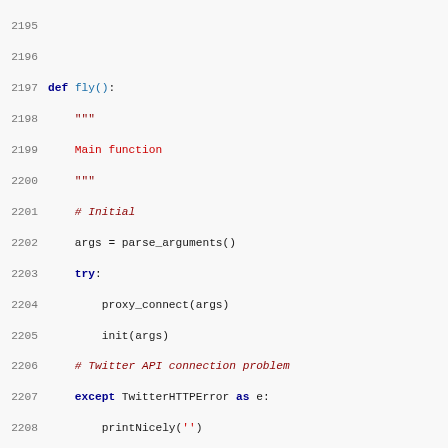[Figure (screenshot): Python source code snippet showing lines 2195-2227, including a def fly(): function with docstring, argument parsing, try/except blocks for TwitterHTTPError and ProxyConnectionError, and stream target logic.]